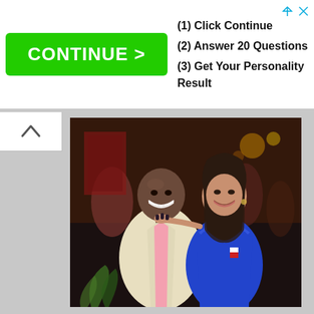[Figure (photo): Advertisement banner with green 'CONTINUE >' button on left and three steps on right: (1) Click Continue, (2) Answer 20 Questions, (3) Get Your Personality Result]
[Figure (photo): Two people posing together at an event. A man in a cream/beige blazer with a pink shirt smiling broadly, and a woman in a royal blue satin dress with long dark hair, smiling. Background shows a dimly lit venue with other guests.]